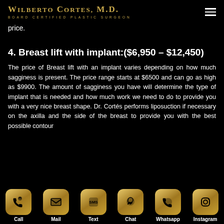WILBERTO CORTES, M.D. BOARD CERTIFIED PLASTIC SURGEON
price.
4. Breast lift with implant:($6,950 – $12,450)
The price of Breast lift with an implant varies depending on how much sagginess is present. The price range starts at $6500 and can go as high as $9900. The amount of sagginess you have will determine the type of implant that is needed and how much work we need to do to provide you with a very nice breast shape. Dr. Cortés performs liposuction if necessary on the axilla and the side of the breast to provide you with the best possible contour
Call | Mail | Text | Chat | Whatsapp | Instagram